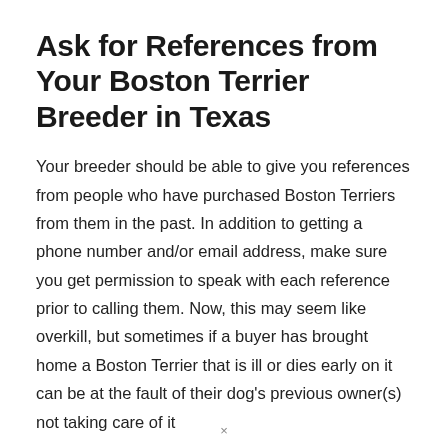Ask for References from Your Boston Terrier Breeder in Texas
Your breeder should be able to give you references from people who have purchased Boston Terriers from them in the past. In addition to getting a phone number and/or email address, make sure you get permission to speak with each reference prior to calling them. Now, this may seem like overkill, but sometimes if a buyer has brought home a Boston Terrier that is ill or dies early on it can be at the fault of their dog's previous owner(s) not taking care of it
×